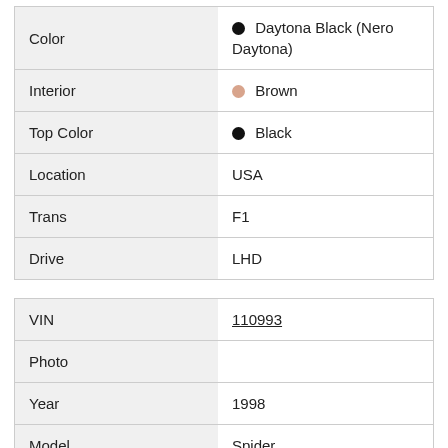| Field | Value |
| --- | --- |
| Color | Daytona Black (Nero Daytona) |
| Interior | Brown |
| Top Color | Black |
| Location | USA |
| Trans | F1 |
| Drive | LHD |
| Field | Value |
| --- | --- |
| VIN | 110993 |
| Photo |  |
| Year | 1998 |
| Model | Spider |
| Color | Barchetta Red (Rosso Barchetta) |
| Interior | Tan |
| Top Color | Black |